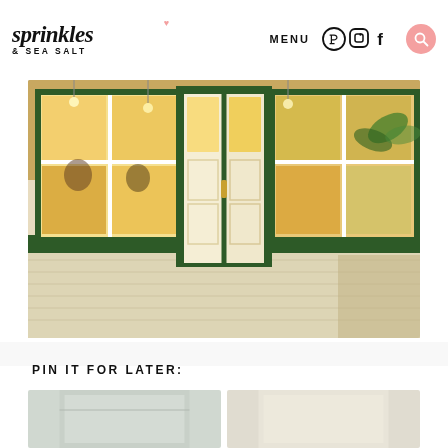sprinkles & SEA SALT | MENU | (social icons) | (search)
[Figure (photo): Exterior storefront of a restaurant at night, showing green-trimmed double doors with glass panels and large windows revealing a warmly lit interior with patrons seated inside, brick facade visible below the windows.]
PIN IT FOR LATER:
[Figure (photo): Partial view of two small thumbnail images at the bottom of the page, cut off, likely Pinterest pin images related to the restaurant.]